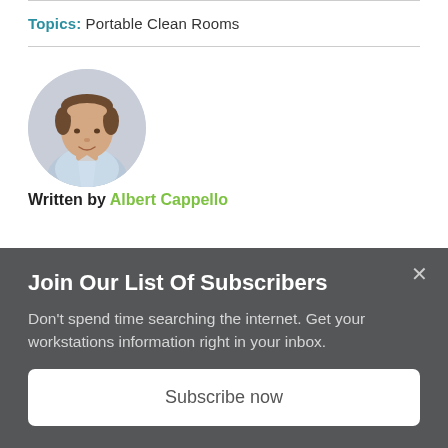Topics: Portable Clean Rooms
[Figure (photo): Headshot portrait of Albert Cappello, a middle-aged man with short brown hair wearing a light blue collared shirt, white background]
Written by Albert Cappello
Join Our List Of Subscribers
Don't spend time searching the internet. Get your workstations information right in your inbox.
Subscribe now